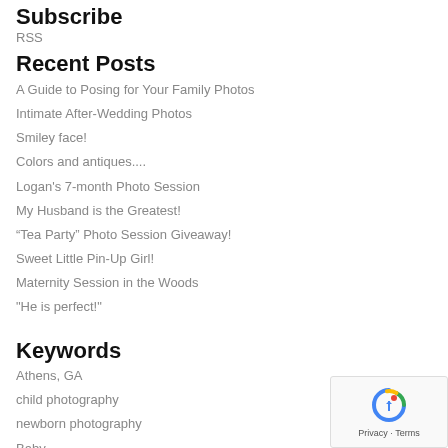Subscribe
RSS
Recent Posts
A Guide to Posing for Your Family Photos
Intimate After-Wedding Photos
Smiley face!
Colors and antiques....
Logan's 7-month Photo Session
My Husband is the Greatest!
“Tea Party” Photo Session Giveaway!
Sweet Little Pin-Up Girl!
Maternity Session in the Woods
"He is perfect!"
Keywords
Athens, GA
child photography
newborn photography
Baby
pregnancy
maternity
newborn